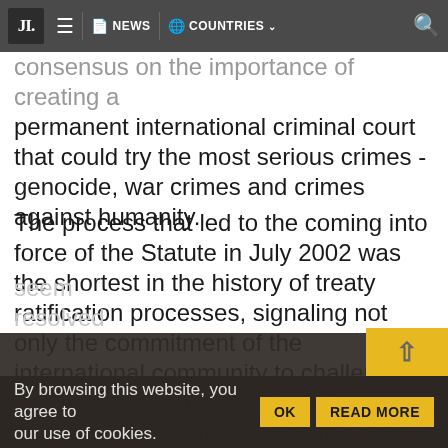JL. NEWS COUNTRIES
consensus on the importance of creating a permanent international criminal court that could try the most serious crimes - genocide, war crimes and crimes against humanity.
The process that led to the coming into force of the Statute in July 2002 was the shortest in the history of treaty ratification processes, signaling not only the commitment of the international community to challenging impunity, but also a solid reaffirmation that when humanity decides to come together with a common cause, even seemingly impossible goals can be resolved.
By browsing this website, you agree to our use of cookies. OK READ MORE